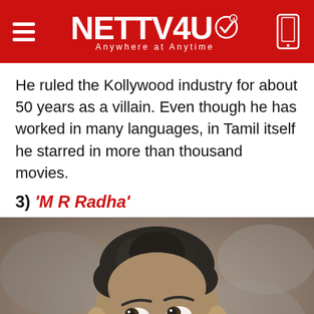NETTV4U — Anywhere at Anytime
He ruled the Kollywood industry for about 50 years as a villain. Even though he has worked in many languages, in Tamil itself he starred in more than thousand movies.
3) 'M R Radha'
[Figure (photo): Black and white portrait photo of M R Radha, a Tamil film actor, looking upward with an expressive face.]
Videos | Profile | Contact | Trending